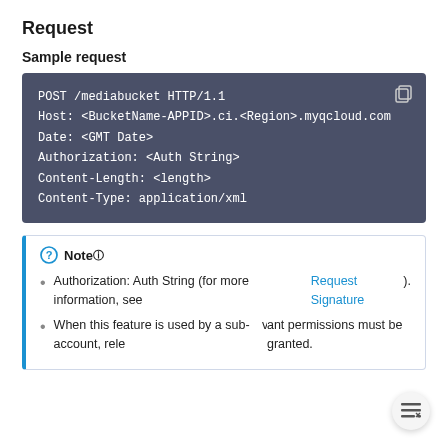Request
Sample request
[Figure (screenshot): Code block showing HTTP POST request: POST /mediabucket HTTP/1.1, Host: <BucketName-APPID>.ci.<Region>.myqcloud.com, Date: <GMT Date>, Authorization: <Auth String>, Content-Length: <length>, Content-Type: application/xml]
Note
Authorization: Auth String (for more information, see Request Signature).
When this feature is used by a sub-account, relevant permissions must be granted.